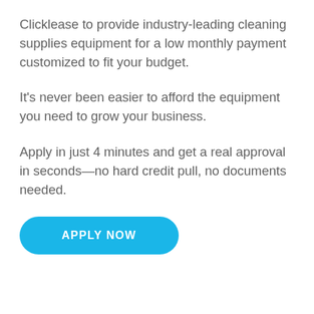Clicklease to provide industry-leading cleaning supplies equipment for a low monthly payment customized to fit your budget.
It's never been easier to afford the equipment you need to grow your business.
Apply in just 4 minutes and get a real approval in seconds—no hard credit pull, no documents needed.
[Figure (other): A teal/blue rounded pill-shaped button with white bold uppercase text reading 'APPLY NOW']